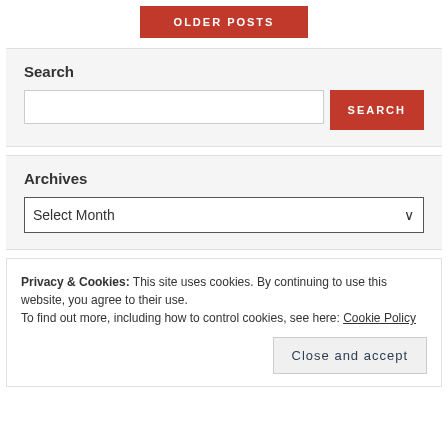OLDER POSTS
Search
Archives
Select Month
Privacy & Cookies: This site uses cookies. By continuing to use this website, you agree to their use.
To find out more, including how to control cookies, see here: Cookie Policy
Close and accept